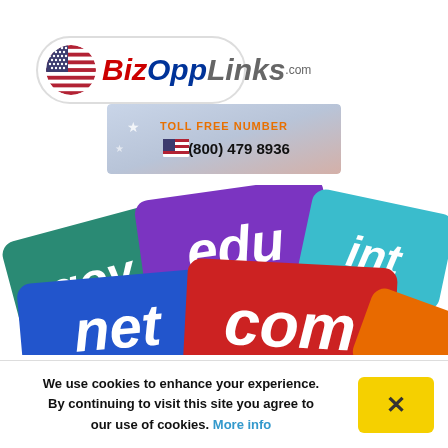[Figure (logo): BizOppLinks.com logo with US flag circle and rounded rectangle border]
[Figure (infographic): Toll free number banner with US flag: (800) 479 8936]
[Figure (illustration): Colorful domain name cards showing gov, edu, int, net, com on stacked angled cards]
We use cookies to enhance your experience. By continuing to visit this site you agree to our use of cookies. More info